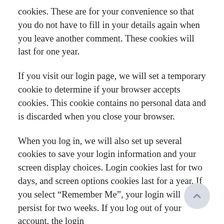cookies. These are for your convenience so that you do not have to fill in your details again when you leave another comment. These cookies will last for one year.
If you visit our login page, we will set a temporary cookie to determine if your browser accepts cookies. This cookie contains no personal data and is discarded when you close your browser.
When you log in, we will also set up several cookies to save your login information and your screen display choices. Login cookies last for two days, and screen options cookies last for a year. If you select “Remember Me”, your login will persist for two weeks. If you log out of your account, the login